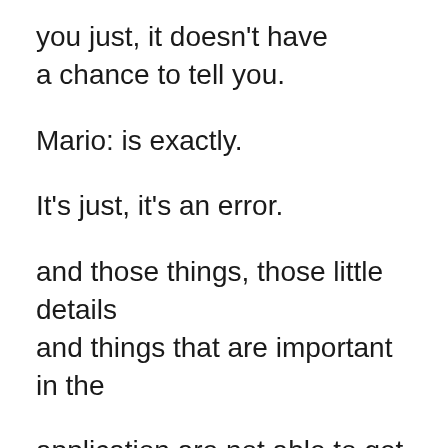you just, it doesn't have a chance to tell you.
Mario: is exactly.
It's just, it's an error.
and those things, those little details and things that are important in the
application are not able to get updated.
so then now the user doesn't know, is it still recording?
It says it's recording.